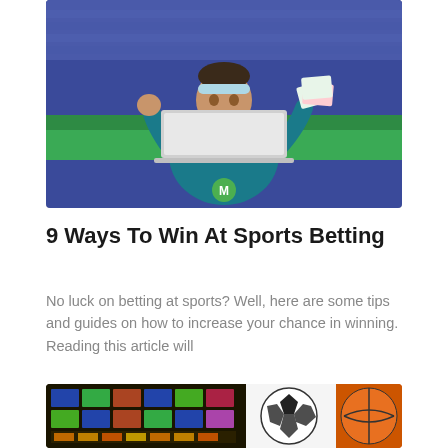[Figure (photo): Young man wearing a blue headband and teal t-shirt sitting at a white laptop at a sports stadium, raising one fist and holding cash in the other hand, celebrating a win. Green logo on the laptop.]
9 Ways To Win At Sports Betting
No luck on betting at sports? Well, here are some tips and guides on how to increase your chance in winning. Reading this article will
[Figure (photo): Sports betting sportsbook with multiple screens showing games on left side, and sports balls (soccer ball, basketball) on the right side.]